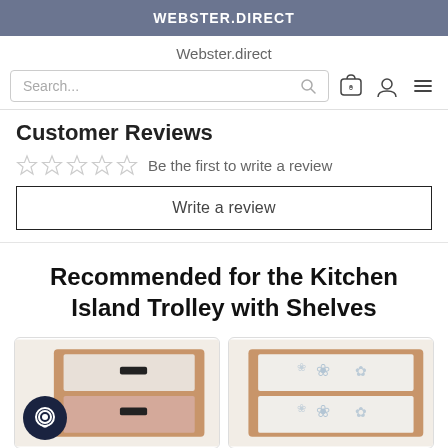WEBSTER.DIRECT
Webster.direct
Search...
Customer Reviews
Be the first to write a review
Write a review
Recommended for the Kitchen Island Trolley with Shelves
[Figure (photo): Product image showing a wooden drawer unit with white and pink drawers]
[Figure (photo): Product image showing a wooden box with floral pattern tiles]